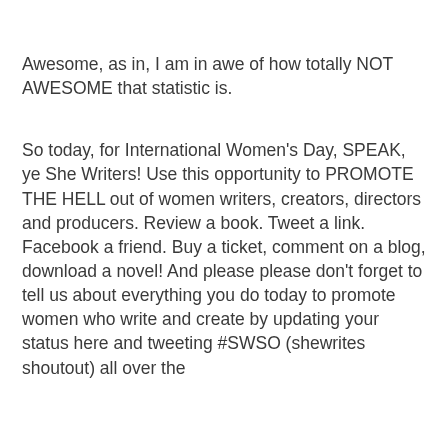Awesome, as in, I am in awe of how totally NOT AWESOME that statistic is.
So today, for International Women's Day, SPEAK, ye She Writers!  Use this opportunity to PROMOTE THE HELL out of women writers, creators, directors and producers.  Review a book.  Tweet a link.  Facebook a friend.  Buy a ticket, comment on a blog, download a novel!  And please please don't forget to tell us about everything you do today to promote women who write and create by updating your status here and tweeting #SWSO (shewrites shoutout) all over the